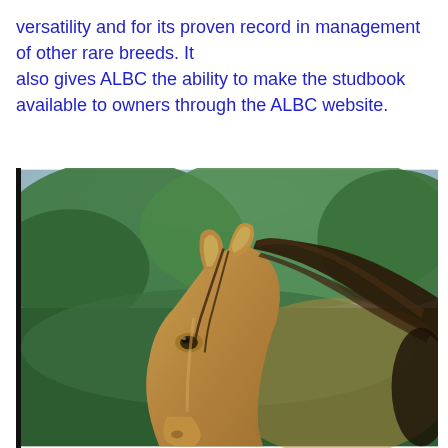versatility and for its proven record in management of other rare breeds. It also gives ALBC the ability to make the studbook available to owners through the ALBC website.
[Figure (photo): Close-up photograph of a buckskin horse head with dark mane, facing slightly left, with green trees in the background and a dark border on the left side.]